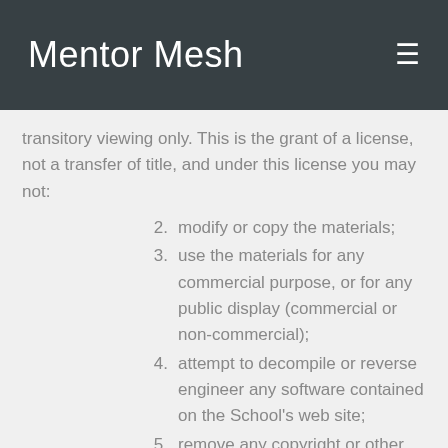Mentor Mesh
transitory viewing only. This is the grant of a license, not a transfer of title, and under this license you may not:
2. modify or copy the materials;
3. use the materials for any commercial purpose, or for any public display (commercial or non-commercial);
4. attempt to decompile or reverse engineer any software contained on the School's web site;
5. remove any copyright or other proprietary notations from the materials; or
6. transfer the materials to another person or 'mirror' the materials on any other server.